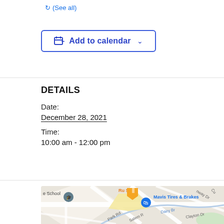(See all)
Add to calendar
DETAILS
Date:
December 28, 2021
Time:
10:00 am - 12:00 pm
[Figure (map): Google Maps view showing Mavis Tires & Brakes location near Ru San's restaurant and a school, with roads including Park Rd, Salem Rd, Dairy Br, Clayton Dr, and Conway Dr visible.]